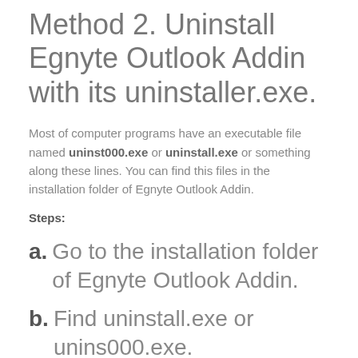Method 2. Uninstall Egnyte Outlook Addin with its uninstaller.exe.
Most of computer programs have an executable file named uninst000.exe or uninstall.exe or something along these lines. You can find this files in the installation folder of Egnyte Outlook Addin.
Steps:
a. Go to the installation folder of Egnyte Outlook Addin.
b. Find uninstall.exe or unins000.exe.